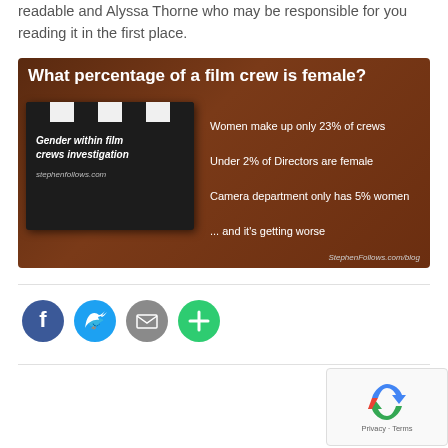readable and Alyssa Thorne who may be responsible for you reading it in the first place.
[Figure (infographic): Infographic with dark brown background and film clapboard. Title: 'What percentage of a film crew is female?' Stats: Women make up only 23% of crews; Under 2% of Directors are female; Camera department only has 5% women; ... and it's getting worse. Source: StephenFollows.com/blog]
[Figure (other): Social sharing buttons: Facebook (blue circle), Twitter (blue circle), Email (grey circle), Plus/More (green circle)]
[Figure (other): reCAPTCHA widget bottom right with Privacy and Terms links]